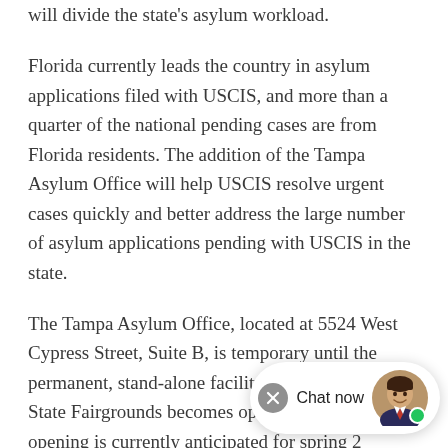will divide the state's asylum workload.
Florida currently leads the country in asylum applications filed with USCIS, and more than a quarter of the national pending cases are from Florida residents. The addition of the Tampa Asylum Office will help USCIS resolve urgent cases quickly and better address the large number of asylum applications pending with USCIS in the state.
The Tampa Asylum Office, located at 5524 West Cypress Street, Suite B, is temporary until the permanent, stand-alone facility near the Florida State Fairgrounds becomes operational. This opening is currently anticipated for spring 2...
The USCIS Tampa Field Office located at 5629